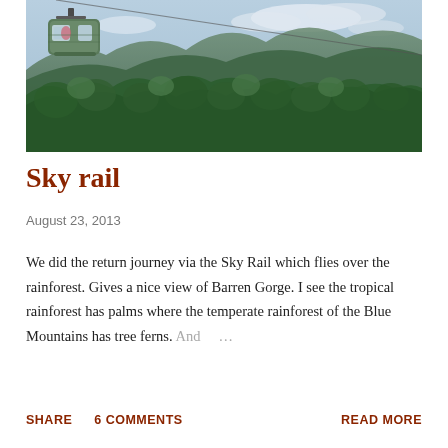[Figure (photo): A cable car / gondola (Sky Rail) gliding over a dense tropical rainforest canopy with mountains in the background under a partly cloudy sky.]
Sky rail
August 23, 2013
We did the return journey via the Sky Rail which flies over the rainforest. Gives a nice view of Barren Gorge. I see the tropical rainforest has palms where the temperate rainforest of the Blue Mountains has tree ferns. And …
SHARE   6 COMMENTS   READ MORE